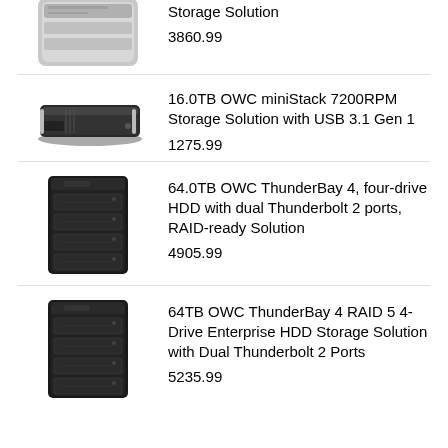[Figure (photo): Product image of a storage device (top, partially visible)]
Storage Solution
3860.99
[Figure (photo): Product image of OWC miniStack flat silver storage device]
16.0TB OWC miniStack 7200RPM Storage Solution with USB 3.1 Gen 1
1275.99
[Figure (photo): Product image of OWC ThunderBay 4 black tower storage device]
64.0TB OWC ThunderBay 4, four-drive HDD with dual Thunderbolt 2 ports, RAID-ready Solution
4905.99
[Figure (photo): Product image of OWC ThunderBay 4 RAID 5 black tower storage device]
64TB OWC ThunderBay 4 RAID 5 4-Drive Enterprise HDD Storage Solution with Dual Thunderbolt 2 Ports
5235.99